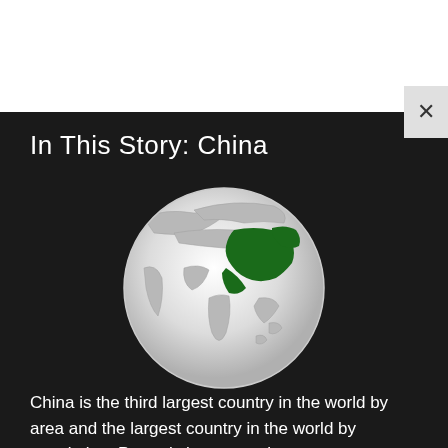In This Story: China
[Figure (map): Globe showing Asia with China highlighted in dark green, centered on East Asia region.]
China is the third largest country in the world by area and the largest country in the world by population. Properly known as the